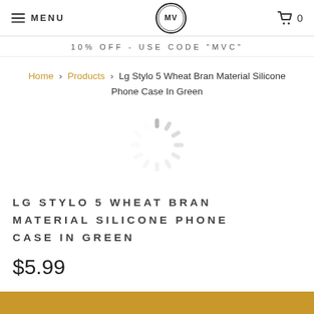MENU | MV Logo | 0
10% OFF - USE CODE "MVC"
Home > Products > Lg Stylo 5 Wheat Bran Material Silicone Phone Case In Green
[Figure (other): Loading spinner animation graphic (circular dashes in light gray)]
LG STYLO 5 WHEAT BRAN MATERIAL SILICONE PHONE CASE IN GREEN
$5.99